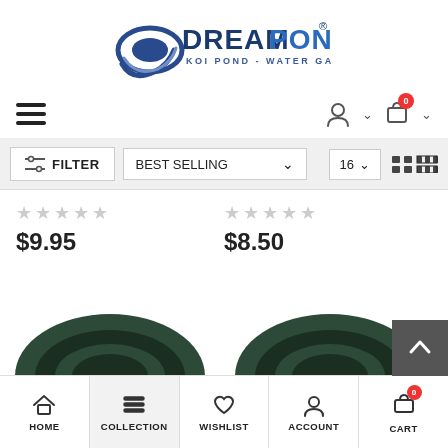[Figure (logo): DreamPond Koi Pond Water Garden logo with swoosh graphic]
[Figure (screenshot): Navigation bar with hamburger menu, user account icon, and shopping cart badge showing 0]
[Figure (screenshot): Filter bar with FILTER button, BEST SELLING dropdown, 16 count dropdown, and grid view icons]
$9.95
$8.50
[Figure (photo): Two dark green rubber pond rings/gaskets shown from top, partially cropped at bottom of page]
[Figure (screenshot): Bottom navigation bar with HOME, COLLECTION (active), WISHLIST, ACCOUNT, CART (badge 0) icons]